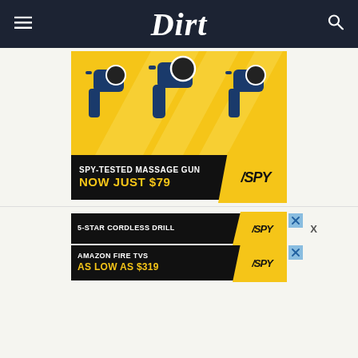Dirt
[Figure (photo): Advertisement for SPY massage gun showing multiple blue massage guns on yellow background with text 'SPY-TESTED MASSAGE GUN NOW JUST $79' and SPY logo]
[Figure (photo): Advertisement for 5-star cordless drill with text '5-STAR CORDLESS DRILL' and SPY logo, with a close X button]
[Figure (photo): Advertisement for Amazon Fire TVs with text 'AMAZON FIRE TVS AS LOW AS $319' and SPY logo]